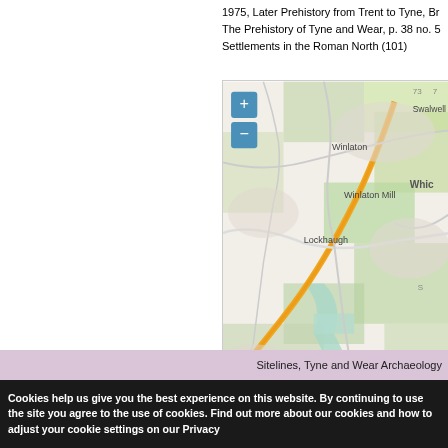1975, Later Prehistory from Trent to Tyne, Br The Prehistory of Tyne and Wear, p. 38 no. 5 Settlements in the Roman North (101)
[Figure (map): Interactive OpenStreetMap showing Winlaton, Winlaton Mill, Lockhaugh, Swalwell, and Whickham areas with roads including B6314, with zoom controls and Crown Copyright notice]
Back to Search Results
Sitelines, Tyne and Wear Archaeology
Cookies help us give you the best experience on this website. By continuing to use the site you agree to the use of cookies. Find out more about our cookies and how to adjust your cookie settings on our Privacy